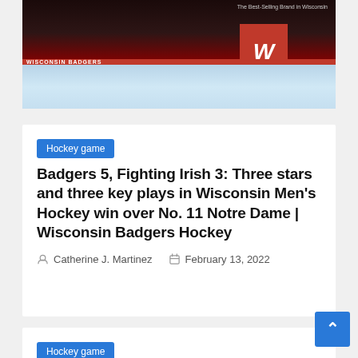[Figure (photo): Wisconsin Badgers hockey arena interior showing ice rink, red boards with WISCONSIN BADGERS text, red W logo banner, and brand text 'The Best-Selling Brand in Wisconsin' in the upper right]
Hockey game
Badgers 5, Fighting Irish 3: Three stars and three key plays in Wisconsin Men's Hockey win over No. 11 Notre Dame | Wisconsin Badgers Hockey
Catherine J. Martinez   February 13, 2022
Hockey game
Follow live coverage of Saturday's Wisconsin men's hockey game against